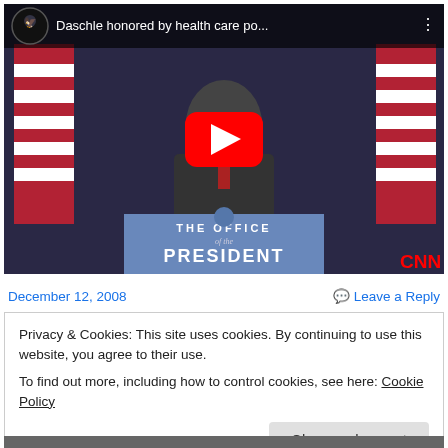[Figure (screenshot): YouTube video thumbnail showing a man at a podium labeled 'THE OFFICE of the PRESIDENT' with CNN logo. Video title: 'Daschle honored by health care po...' with a red play button overlay and American flags in background.]
December 12, 2008
Leave a Reply
Privacy & Cookies: This site uses cookies. By continuing to use this website, you agree to their use.
To find out more, including how to control cookies, see here: Cookie Policy
Close and accept